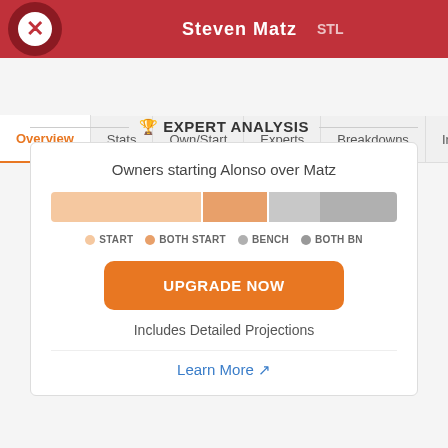Steven Matz STL
Overview | Stats | Own/Start | Experts | Breakdowns | Inju...
🏆 EXPERT ANALYSIS
Owners starting Alonso over Matz
[Figure (bar-chart): Stacked bar showing START, BOTH START, BENCH, BOTH BN segments]
START  BOTH START  BENCH  BOTH BN
UPGRADE NOW
Includes Detailed Projections
Learn More ↗
LATEST NEWS  PETE ALONSO
Willy Adames has 20 RBI against the Pirates this season, the third highest total of any player against...